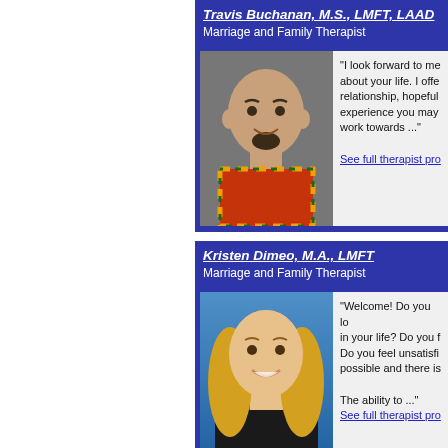Travis Buchanan, M.S., LMFT, LAAD
Marriage and Family Therapist
[Figure (photo): Headshot photo of Travis Buchanan, a bald man with a goatee wearing a plaid shirt, smiling]
"I look forward to me about your life. I offe relationship, hopeful experience you may work towards ..." See full therapist pro
Kristen Dimeo, M.A., LMFT
Marriage and Family Therapist
[Figure (photo): Headshot photo of Kristen Dimeo, a blonde woman with a professional smile, wearing a dark jacket]
"Welcome! Do you lo in your life? Do you f Do you feel unsatisfi possible and there is The ability to ..." See full therapist pro